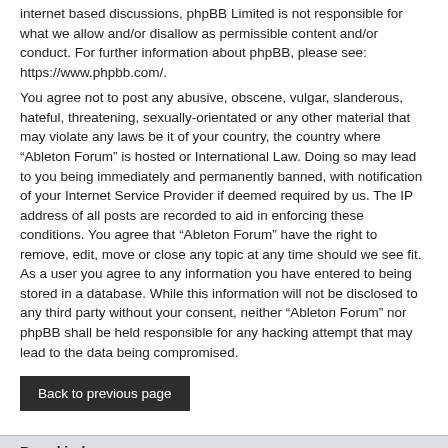internet based discussions, phpBB Limited is not responsible for what we allow and/or disallow as permissible content and/or conduct. For further information about phpBB, please see: https://www.phpbb.com/.
You agree not to post any abusive, obscene, vulgar, slanderous, hateful, threatening, sexually-orientated or any other material that may violate any laws be it of your country, the country where “Ableton Forum” is hosted or International Law. Doing so may lead to you being immediately and permanently banned, with notification of your Internet Service Provider if deemed required by us. The IP address of all posts are recorded to aid in enforcing these conditions. You agree that “Ableton Forum” have the right to remove, edit, move or close any topic at any time should we see fit. As a user you agree to any information you have entered to being stored in a database. While this information will not be disclosed to any third party without your consent, neither “Ableton Forum” nor phpBB shall be held responsible for any hacking attempt that may lead to the data being compromised.
Back to previous page
Board index | Delete cookies | All times are UTC
Powered by phpBB® Forum Software © phpBB Limited | Legal Info | Privacy Policy | Terms | Cookie Settings | Imprint